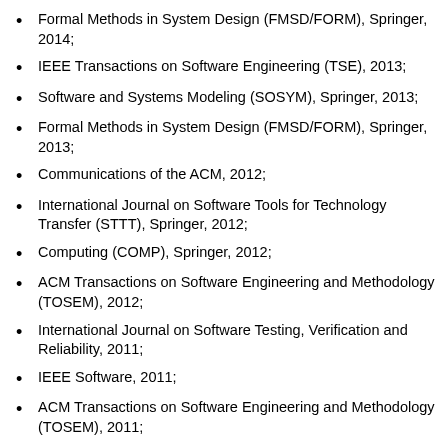Formal Methods in System Design (FMSD/FORM), Springer, 2014;
IEEE Transactions on Software Engineering (TSE), 2013;
Software and Systems Modeling (SOSYM), Springer, 2013;
Formal Methods in System Design (FMSD/FORM), Springer, 2013;
Communications of the ACM, 2012;
International Journal on Software Tools for Technology Transfer (STTT), Springer, 2012;
Computing (COMP), Springer, 2012;
ACM Transactions on Software Engineering and Methodology (TOSEM), 2012;
International Journal on Software Testing, Verification and Reliability, 2011;
IEEE Software, 2011;
ACM Transactions on Software Engineering and Methodology (TOSEM), 2011;
International Journal on Software Tools for Technology Transfer